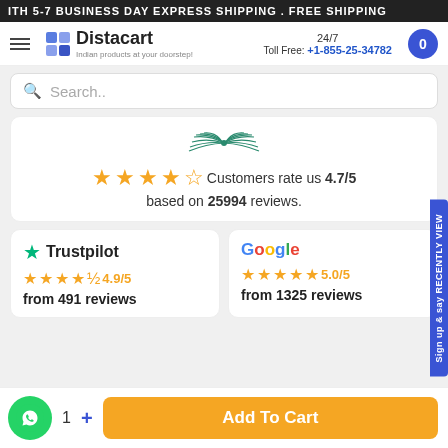ITH 5-7 BUSINESS DAY EXPRESS SHIPPING . FREE SHIPPING
[Figure (logo): Distacart logo with tagline 'Indian products at your doorstep!' and 24/7 Toll Free number +1-855-25-34782 and cart button]
Search..
[Figure (illustration): Decorative teal/green laurel wings graphic]
Customers rate us 4.7/5 based on 25994 reviews.
Trustpilot ★★★★½ 4.9/5 from 491 reviews
Google ★★★★★ 5.0/5 from 1325 reviews
1  +   Add To Cart